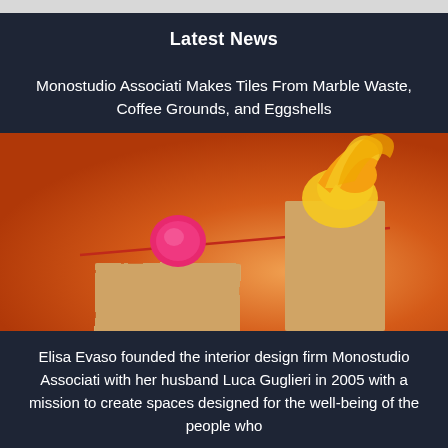Latest News
Monostudio Associati Makes Tiles From Marble Waste, Coffee Grounds, and Eggshells
[Figure (photo): A balanced seesaw-like composition on an orange gradient background featuring textured tile blocks and a pink disc, with yellow-orange organic material on top of one block, balanced on a thin red diagonal rod.]
Elisa Evaso founded the interior design firm Monostudio Associati with her husband Luca Guglieri in 2005 with a mission to create spaces designed for the well-being of the people who